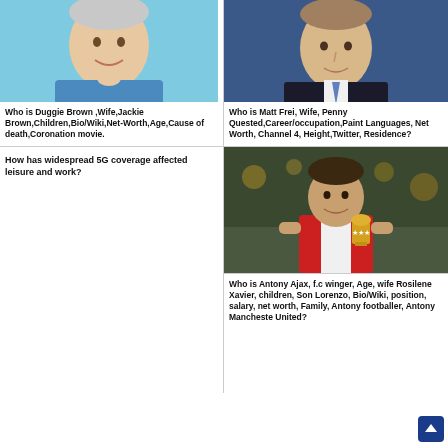[Figure (photo): Smiling older man with grey hair wearing a blue shirt, headshot/portrait photo]
[Figure (photo): Man in dark suit with blue tie against blue background, formal portrait]
Who is Duggie Brown ,Wife,Jackie Brown,Children,Bio/Wiki,Net-Worth,Age,Cause of death,Coronation movie.
Who is Matt Frei, Wife, Penny Quested,Career/occupation,Paint Languages, Net Worth, Channel 4, Height,Twitter, Residence?
How has widespread 5G coverage affected leisure and work?
[Figure (photo): Young footballer in Ajax red and white jersey holding a trophy, smiling, stadium background]
Who is Antony Ajax, f.c winger, Age, wife Rosilene Xavier, children, Son Lorenzo, Bio/Wiki, position, salary, net worth, Family, Antony footballer, Antony Manchester United?